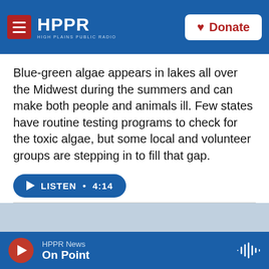HPPR HIGH PLAINS PUBLIC RADIO | Donate
Blue-green algae appears in lakes all over the Midwest during the summers and can make both people and animals ill. Few states have routine testing programs to check for the toxic algae, but some local and volunteer groups are stepping in to fill that gap.
LISTEN • 4:14
[Figure (photo): Wide landscape photo of a river or lake with a driftwood log partially submerged in shallow water, sandy banks, and trees on a bluff in the background under an overcast sky.]
HPPR News | On Point